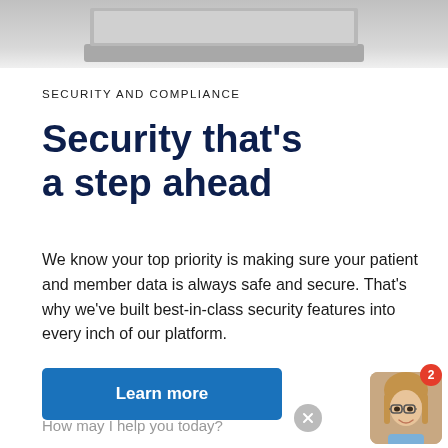[Figure (photo): Partial view of a laptop from above, gray background, cropped at top of page]
SECURITY AND COMPLIANCE
Security that's a step ahead
We know your top priority is making sure your patient and member data is always safe and secure. That's why we've built best-in-class security features into every inch of our platform.
Learn more
How may I help you today?